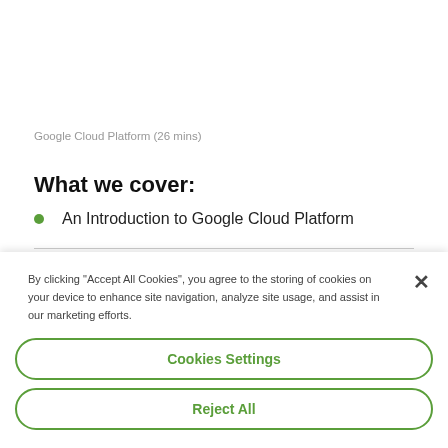Google Cloud Platform (26 mins)
What we cover:
An Introduction to Google Cloud Platform
By clicking "Accept All Cookies", you agree to the storing of cookies on your device to enhance site navigation, analyze site usage, and assist in our marketing efforts.
Cookies Settings
Reject All